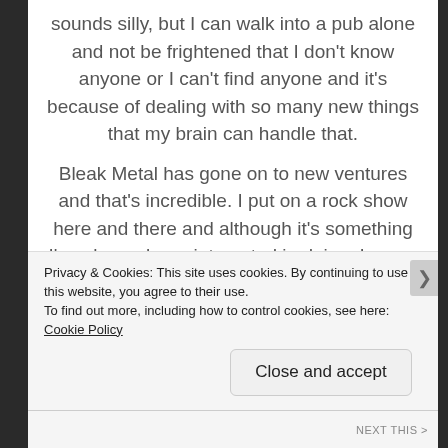sounds silly, but I can walk into a pub alone and not be frightened that I don't know anyone or I can't find anyone and it's because of dealing with so many new things that my brain can handle that.
Bleak Metal has gone on to new ventures and that's incredible. I put on a rock show here and there and although it's something I've always been interested in doing, I never thought that it's something I could pull off. Huge thanks goes to Zac of Oblivionized for answering all my
Privacy & Cookies: This site uses cookies. By continuing to use this website, you agree to their use.
To find out more, including how to control cookies, see here: Cookie Policy
Close and accept